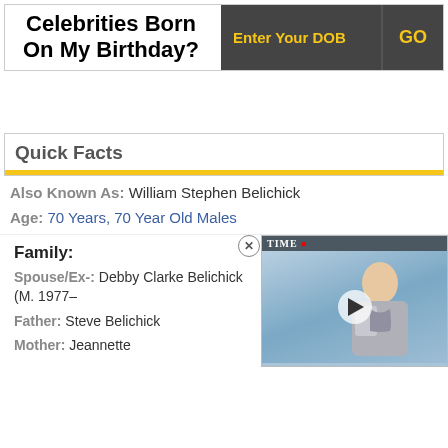Celebrities Born On My Birthday?
Enter Your DOB   GO
Quick Facts
Also Known As: William Stephen Belichick
Age: 70 Years, 70 Year Old Males
Family:
Spouse/Ex-: Debby Clarke Belichick (M. 1977–
Father: Steve Belichick
Mother: Jeannette